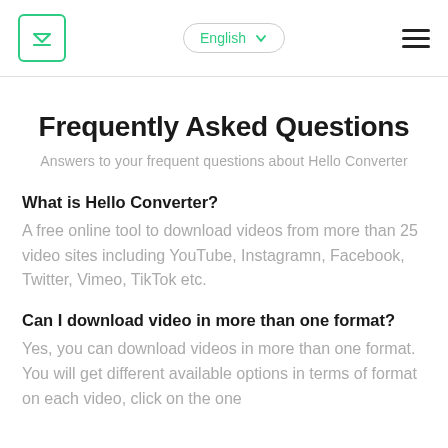English (language selector) | hamburger menu
Frequently Asked Questions
Answers to your frequent questions about Hello Converter
What is Hello Converter?
A free online tool to download videos from more than 25 video sites including YouTube, Instagramn, Facebook, Twitter, Vimeo, TikTok etc.
Can I download video in more than one format?
Yes, you can download videos in more than one format. You will get different available options in terms of format on each video, click on the one